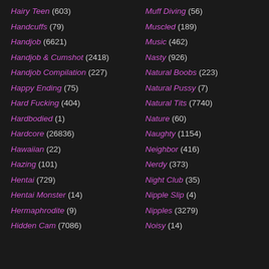Hairy Teen (603)
Handcuffs (79)
Handjob (6621)
Handjob & Cumshot (2418)
Handjob Compilation (227)
Happy Ending (75)
Hard Fucking (404)
Hardbodied (1)
Hardcore (26836)
Hawaiian (22)
Hazing (101)
Hentai (729)
Hentai Monster (14)
Hermaphrodite (9)
Hidden Cam (7086)
Muff Diving (56)
Muscled (189)
Music (462)
Nasty (926)
Natural Boobs (223)
Natural Pussy (7)
Natural Tits (7740)
Nature (60)
Naughty (1154)
Neighbor (416)
Nerdy (373)
Night Club (35)
Nipple Slip (4)
Nipples (3279)
Noisy (14)